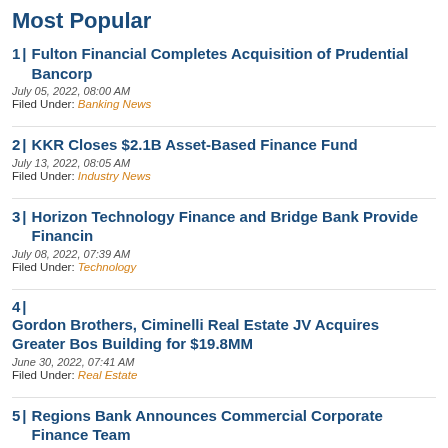Most Popular
1 | Fulton Financial Completes Acquisition of Prudential Bancorp
July 05, 2022, 08:00 AM
Filed Under: Banking News
2 | KKR Closes $2.1B Asset-Based Finance Fund
July 13, 2022, 08:05 AM
Filed Under: Industry News
3 | Horizon Technology Finance and Bridge Bank Provide Financing
July 08, 2022, 07:39 AM
Filed Under: Technology
4 | Gordon Brothers, Ciminelli Real Estate JV Acquires Greater Boston Building for $19.8MM
June 30, 2022, 07:41 AM
Filed Under: Real Estate
5 | Regions Bank Announces Commercial Corporate Finance Team
July 07, 2022, 08:01 AM
Filed Under: Banking News